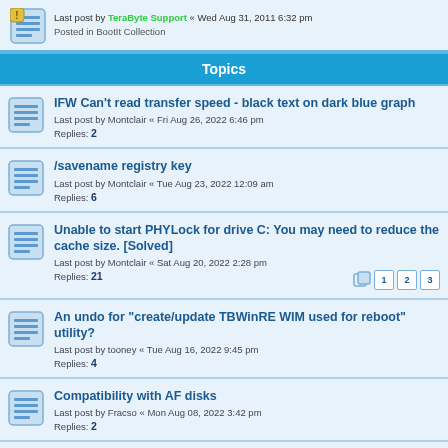Last post by TeraByte Support « Wed Aug 31, 2011 6:32 pm
Posted in BootIt Collection
Topics
IFW Can't read transfer speed - black text on dark blue graph
Last post by Montclair « Fri Aug 26, 2022 6:46 pm
Replies: 2
/savename registry key
Last post by Montclair « Tue Aug 23, 2022 12:09 am
Replies: 6
Unable to start PHYLock for drive C: You may need to reduce the cache size. [Solved]
Last post by Montclair « Sat Aug 20, 2022 2:28 pm
Replies: 21
An undo for "create/update TBWinRE WIM used for reboot" utility?
Last post by tooney « Tue Aug 16, 2022 9:45 pm
Replies: 4
Compatibility with AF disks
Last post by Fracso « Mon Aug 08, 2022 3:42 pm
Replies: 2
Copy Win10
Last post by Friendly « Wed Aug 03, 2022 1:44 pm
Replies: 10
'changes only' with bitlocker on vs off
Last post by orangemonkey « Tue Aug 02, 2022 3:49 pm